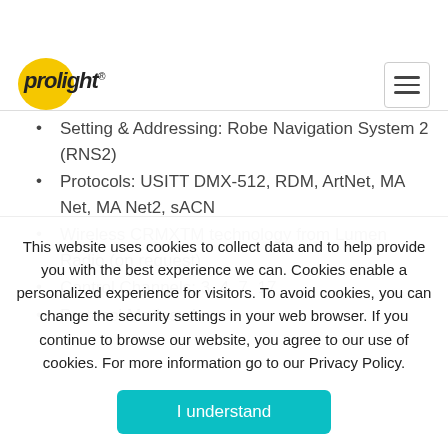prolight® [navigation bar with hamburger menu]
High Resolution Dimmer: 0–100%
Effects: ramp up, ramp down, ramp up-down, random flash, single flash, microphone driven strobe effect
Setting & Addressing: Robe Navigation System 2 (RNS2)
Protocols: USITT DMX-512, RDM, ArtNet, MA Net, MA Net2, sACN
Wireless CRMXTM technology from Lumen Radio (on request)
Control Channels: 3, 4, 7, 17
Protocol Modes: 4
This website uses cookies to collect data and to help provide you with the best experience we can. Cookies enable a personalized experience for visitors. To avoid cookies, you can change the security settings in your web browser. If you continue to browse our website, you agree to our use of cookies. For more information go to our Privacy Policy.
I understand